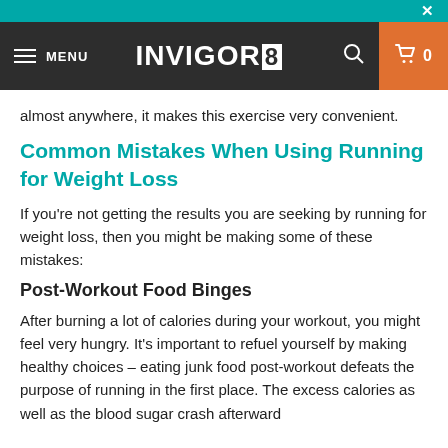INVIGOR8 — navigation bar with menu, logo, search, and cart
almost anywhere, it makes this exercise very convenient.
Common Mistakes When Using Running for Weight Loss
If you're not getting the results you are seeking by running for weight loss, then you might be making some of these mistakes:
Post-Workout Food Binges
After burning a lot of calories during your workout, you might feel very hungry. It's important to refuel yourself by making healthy choices – eating junk food post-workout defeats the purpose of running in the first place. The excess calories as well as the blood sugar crash afterward will leave you hungry again in no time. Avoid foods that are high in sugar.